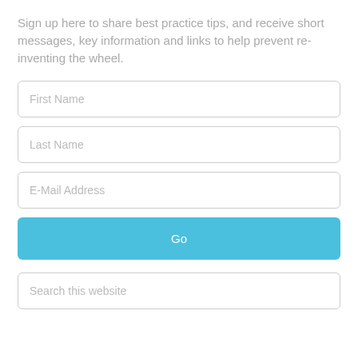Sign up here to share best practice tips, and receive short messages, key information and links to help prevent re-inventing the wheel.
[Figure (screenshot): Web form with fields: First Name, Last Name, E-Mail Address, a Go button, and a Search this website field.]